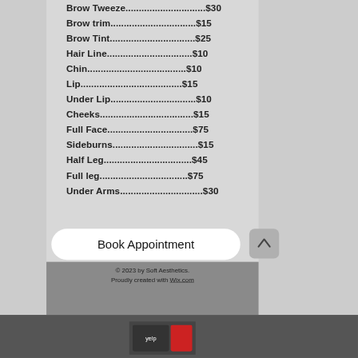Brow Tweeze..............................$30
Brow trim................................$15
Brow Tint................................$25
Hair Line................................$10
Chin.....................................$10
Lip......................................$15
Under Lip................................$10
Cheeks...................................$15
Full Face................................$75
Sideburns................................$15
Half Leg.................................$45
Full leg.................................$75
Under Arms...............................$30
Book Appointment
© 2023 by Soft Aesthetics. Proudly created with Wix.com